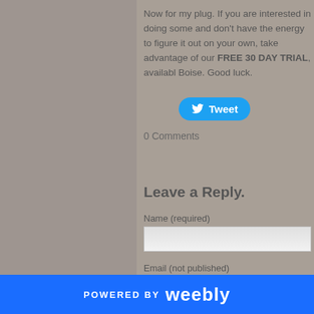Now for my plug.  If you are interested in doing some and don't have the energy to figure it out on your own, take advantage of our FREE 30 DAY TRIAL, availabl Boise.  Good luck.
[Figure (screenshot): Twitter Tweet button in blue rounded rectangle]
0 Comments
Leave a Reply.
Name (required)
Email (not published)
POWERED BY weebly